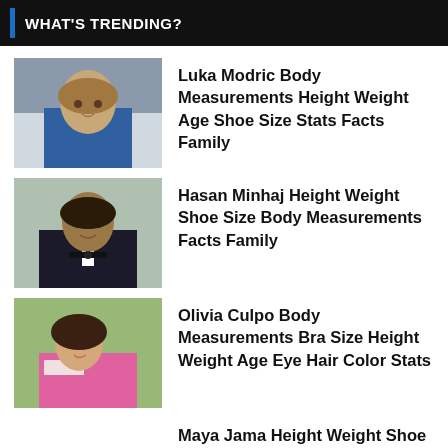WHAT'S TRENDING?
[Figure (photo): Portrait photo of Luka Modric, soccer player in white jersey]
Luka Modric Body Measurements Height Weight Age Shoe Size Stats Facts Family
[Figure (photo): Portrait photo of Hasan Minhaj in black suit with bow tie]
Hasan Minhaj Height Weight Shoe Size Body Measurements Facts Family
[Figure (photo): Portrait photo of Olivia Culpo in pink dress with Miss USA sash]
Olivia Culpo Body Measurements Bra Size Height Weight Age Eye Hair Color Stats
Maya Jama Height Weight Shoe Size Body Measurements Statistics